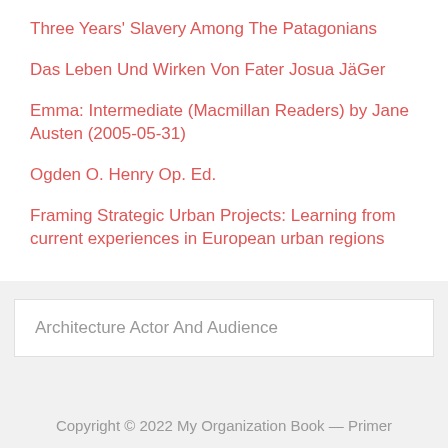Three Years' Slavery Among The Patagonians
Das Leben Und Wirken Von Fater Josua JäGer
Emma: Intermediate (Macmillan Readers) by Jane Austen (2005-05-31)
Ogden O. Henry Op. Ed.
Framing Strategic Urban Projects: Learning from current experiences in European urban regions
Architecture Actor And Audience
Copyright © 2022 My Organization Book — Primer